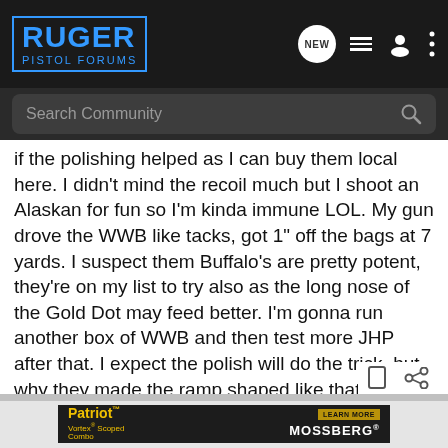[Figure (screenshot): Ruger Pistol Forums website header with logo and navigation icons]
[Figure (screenshot): Search Community search bar]
if the polishing helped as I can buy them local here. I didn't mind the recoil much but I shoot an Alaskan for fun so I'm kinda immune LOL. My gun drove the WWB like tacks, got 1" off the bags at 7 yards. I suspect them Buffalo's are pretty potent, they're on my list to try also as the long nose of the Gold Dot may feed better. I'm gonna run another box of WWB and then test more JHP after that. I expect the polish will do the trick, but why they made the ramp shaped like that I have no clue.
[Figure (screenshot): Mossberg Patriot Vortex Scoped Combo advertisement banner with Learn More button]